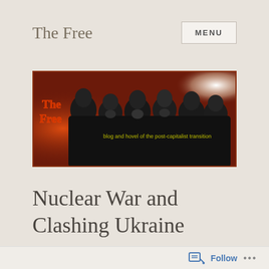The Free
MENU
[Figure (illustration): Banner image for 'The Free' blog showing a group of masked people in black clothing, with text 'The Free' in red/orange and 'blog and hovel of the post-capitalist transition' in yellow, on a dark reddish-brown background.]
Nuclear War and Clashing Ukraine
Follow ...